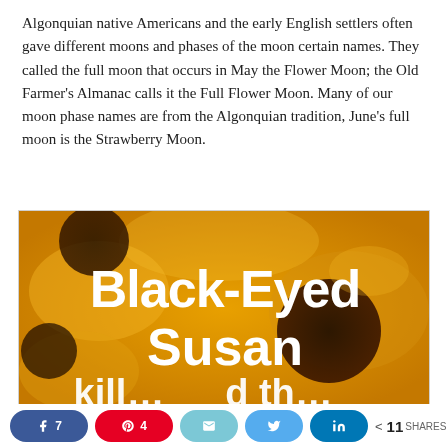Algonquian native Americans and the early English settlers often gave different moons and phases of the moon certain names. They called the full moon that occurs in May the Flower Moon; the Old Farmer's Almanac calls it the Full Flower Moon. Many of our moon phase names are from the Algonquian tradition, June's full moon is the Strawberry Moon.
[Figure (photo): A close-up photo of Black-Eyed Susan flowers (yellow petals with dark brown/black centers) with large white bold text overlay reading 'Black-Eyed Susan' and partial text below reading 'kill...d th...' in the same white font.]
Social share bar: Facebook 7, Pinterest 4, Email, Twitter, LinkedIn, < 11 SHARES